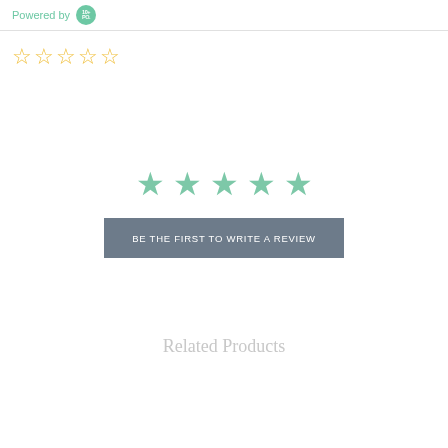Powered by [logo]
[Figure (other): Five outline star rating icons in yellow/gold, all empty (no fill rating)]
[Figure (other): Five filled teal/mint colored star icons centered on the page]
BE THE FIRST TO WRITE A REVIEW
Related Products